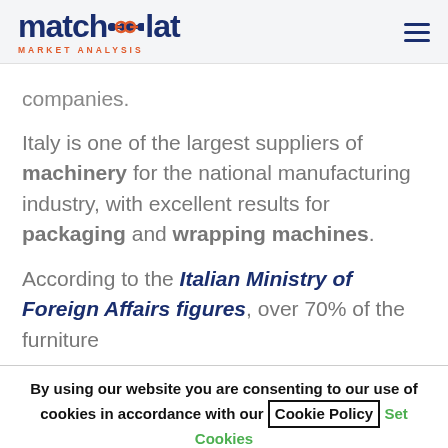matchplat MARKET ANALYSIS
companies.
Italy is one of the largest suppliers of machinery for the national manufacturing industry, with excellent results for packaging and wrapping machines.
According to the Italian Ministry of Foreign Affairs figures, over 70% of the furniture
By using our website you are consenting to our use of cookies in accordance with our Cookie Policy  Set Cookies
I ACCEPT